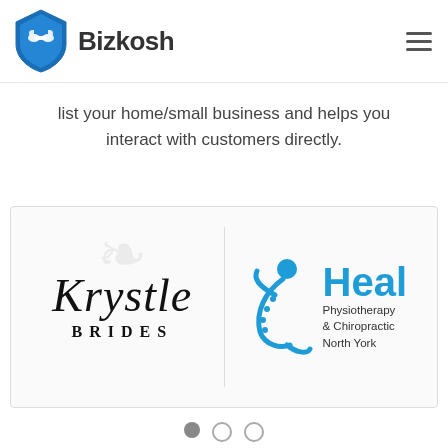[Figure (logo): Bizkosh logo: blue shield with handshake icon and text 'Bizkosh']
list your home/small business and helps you interact with customers directly.
[Figure (illustration): Carousel showing two business logos: Krystle Brides (left) and Heal Physiotherapy & Chiropractic North York (right), with navigation dots below]